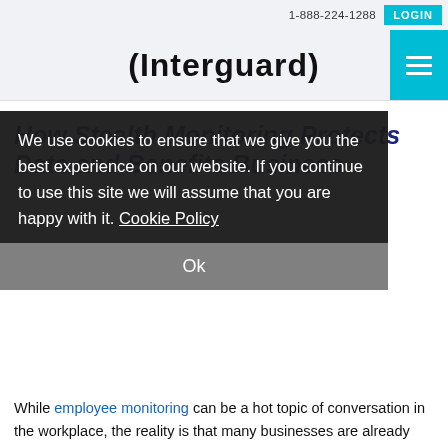1-888-224-1288 LOGIN
(Interguard)
How Stealth Monitoring Protects Data and Benefits Business
We use cookies to ensure that we give you the best experience on our website. If you continue to use this site we will assume that you are happy with it. Cookie Policy
Ok
While employee monitoring can be a hot topic of conversation in the workplace, the reality is that many businesses are already using some type of monitoring and benefiting from it. The questions are how much ... use that monitoring for th...
We're Online. Let's Chat.